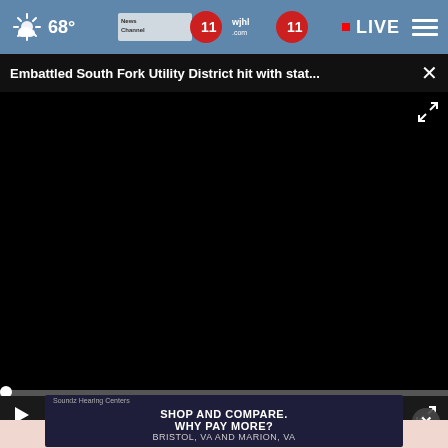68° News Channel 11 wjhl.com 11 • LIVE
Embattled South Fork Utility District hit with stat... ×
[Figure (screenshot): Black video player area showing a paused/loading video]
00:00
hear.com
[Figure (infographic): Advertisement for Soundz Hearing Centers: SHOP AND COMPARE. WHY PAY MORE? BRISTOL, VA AND MARION, VA]